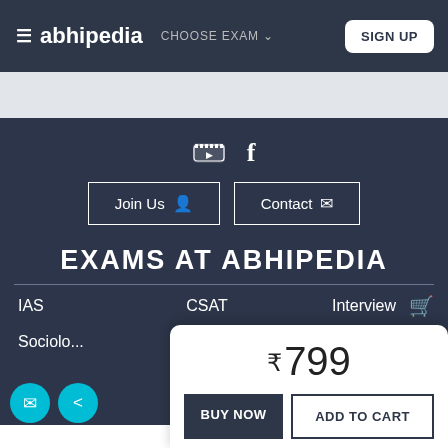≡ abhipedia  CHOOSE EXAM ∨   SIGN UP
[Figure (screenshot): Gray banner / ad space placeholder]
[Figure (infographic): Social icons (YouTube, Facebook) and Join Us / Contact buttons on dark background]
EXAMS AT ABHIPEDIA
IAS   CSAT   Interview
Sociolo...
₹799
BUY NOW   ADD TO CART